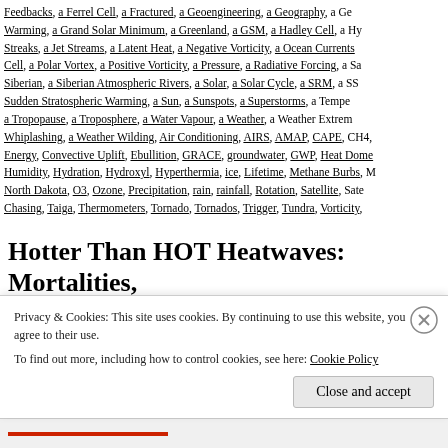Feedbacks, a Ferrel Cell, a Fractured, a Geoengineering, a Geography, a Ge… Warming, a Grand Solar Minimum, a Greenland, a GSM, a Hadley Cell, a Hy… Streaks, a Jet Streams, a Latent Heat, a Negative Vorticity, a Ocean Currents… Cell, a Polar Vortex, a Positive Vorticity, a Pressure, a Radiative Forcing, a Sa… Siberian, a Siberian Atmospheric Rivers, a Solar, a Solar Cycle, a SRM, a SS… Sudden Stratospheric Warming, a Sun, a Sunspots, a Superstorms, a Tempe… a Tropopause, a Troposphere, a Water Vapour, a Weather, a Weather Extrem… Whiplashing, a Weather Wilding, Air Conditioning, AIRS, AMAP, CAPE, CH4… Energy, Convective Uplift, Ebullition, GRACE, groundwater, GWP, Heat Dome… Humidity, Hydration, Hydroxyl, Hyperthermia, ice, Lifetime, Methane Burbs, M… North Dakota, O3, Ozone, Precipitation, rain, rainfall, Rotation, Satellite, Sate… Chasing, Taiga, Thermometers, Tornado, Tornados, Trigger, Tundra, Vorticity,
Hotter Than HOT Heatwaves: Mortalities, Sperm, Lighter Babies
Privacy & Cookies: This site uses cookies. By continuing to use this website, you agree to their use.
To find out more, including how to control cookies, see here: Cookie Policy